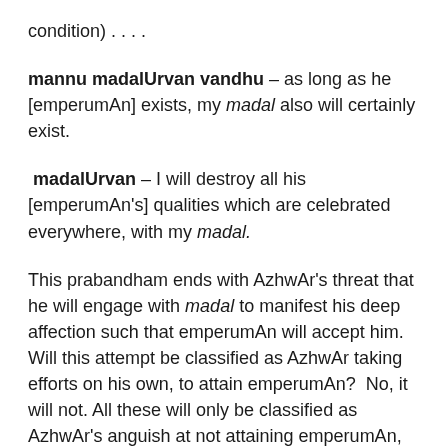condition) . . . .
mannu madalUrvan vandhu – as long as he [emperumAn] exists, my madal also will certainly exist.
madalUrvan – I will destroy all his [emperumAn's] qualities which are celebrated everywhere, with my madal.
This prabandham ends with AzhwAr's threat that he will engage with madal to manifest his deep affection such that emperumAn will accept him. Will this attempt be classified as AzhwAr taking efforts on his own, to attain emperumAn? No, it will not. All these will only be classified as AzhwAr's anguish at not attaining emperumAn, knowing the greatness of emperumAn and knowing also that only emperumAn is the means for attaining him. Only those attempts of emperumAn